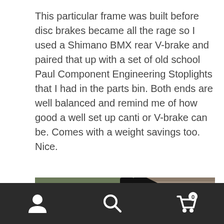This particular frame was built before disc brakes became all the rage so I used a Shimano BMX rear V-brake and paired that up with a set of old school Paul Component Engineering Stoplights that I had in the parts bin. Both ends are well balanced and remind me of how good a well set up canti or V-brake can be. Comes with a weight savings too. Nice.
[Figure (photo): Close-up photo of a black bicycle frame fork and wheel on grass, with a red brake component visible, and another bicycle partially visible in the background against a stone wall.]
Navigation bar with person/account icon, search icon, and cart icon showing 0 items